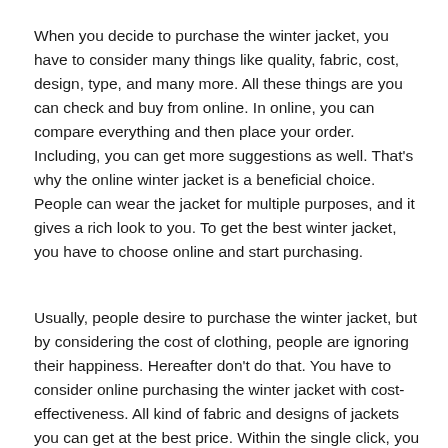When you decide to purchase the winter jacket, you have to consider many things like quality, fabric, cost, design, type, and many more. All these things are you can check and buy from online. In online, you can compare everything and then place your order. Including, you can get more suggestions as well. That's why the online winter jacket is a beneficial choice. People can wear the jacket for multiple purposes, and it gives a rich look to you. To get the best winter jacket, you have to choose online and start purchasing.
Usually, people desire to purchase the winter jacket, but by considering the cost of clothing, people are ignoring their happiness. Hereafter don't do that. You have to consider online purchasing the winter jacket with cost-effectiveness. All kind of fabric and designs of jackets you can get at the best price. Within the single click, you can get a list of options so you can